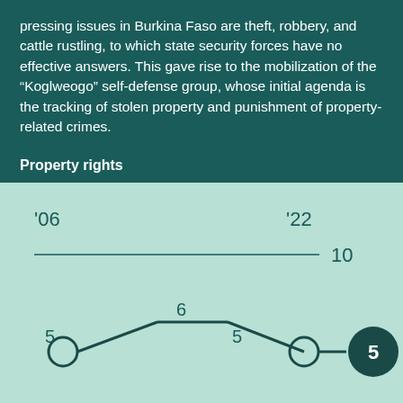pressing issues in Burkina Faso are theft, robbery, and cattle rustling, to which state security forces have no effective answers. This gave rise to the mobilization of the "Koglweogo" self-defense group, whose initial agenda is the tracking of stolen property and punishment of property-related crimes.
Property rights
[Figure (line-chart): Line chart showing property rights score from 2006 to 2022, starting at 5, rising to 6 in the middle, returning to 5, with current value of 5 shown in a dark circle on the right.]